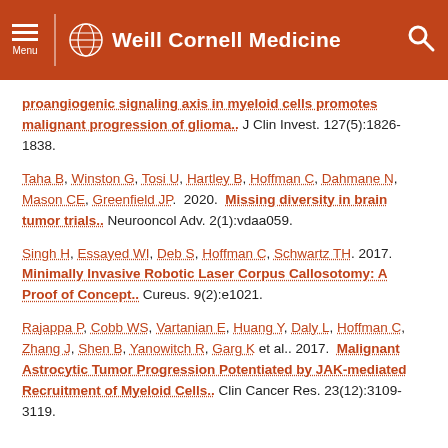Weill Cornell Medicine
proangiogenic signaling axis in myeloid cells promotes malignant progression of glioma.. J Clin Invest. 127(5):1826-1838.
Taha B, Winston G, Tosi U, Hartley B, Hoffman C, Dahmane N, Mason CE, Greenfield JP. 2020. Missing diversity in brain tumor trials.. Neurooncol Adv. 2(1):vdaa059.
Singh H, Essayed WI, Deb S, Hoffman C, Schwartz TH. 2017. Minimally Invasive Robotic Laser Corpus Callosotomy: A Proof of Concept.. Cureus. 9(2):e1021.
Rajappa P, Cobb WS, Vartanian E, Huang Y, Daly L, Hoffman C, Zhang J, Shen B, Yanowitch R, Garg K et al.. 2017. Malignant Astrocytic Tumor Progression Potentiated by JAK-mediated Recruitment of Myeloid Cells.. Clin Cancer Res. 23(12):3109-3119.